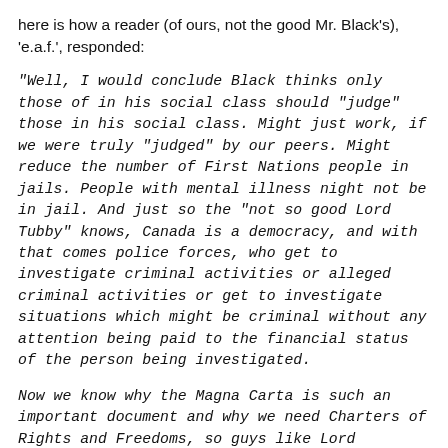here is how a reader (of ours, not the good Mr. Black's), 'e.a.f.', responded:
"Well, I would conclude Black thinks only those of in his social class should "judge" those in his social class. Might just work, if we were truly "judged" by our peers. Might reduce the number of First Nations people in jails. People with mental illness night not be in jail. And just so the "not so good Lord Tubby" knows, Canada is a democracy, and with that comes police forces, who get to investigate criminal activities or alleged criminal activities or get to investigate situations which might be criminal without any attention being paid to the financial status of the person being investigated.
Now we know why the Magna Carta is such an important document and why we need Charters of Rights and Freedoms, so guys like Lord